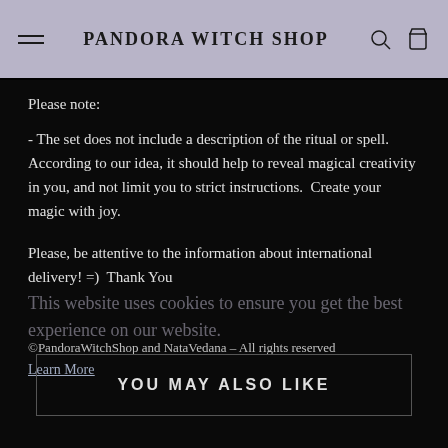PANDORA WITCH SHOP
Please note:
- The set does not include a description of the ritual or spell. According to our idea, it should help to reveal magical creativity in you, and not limit you to strict instructions.  Create your magic with joy.
Please, be attentive to the information about international delivery! =)  Thank You
This website uses cookies to ensure you get the best experience on our website.
©PandoraWitchShop and NataVedana – All rights reserved
Learn More
YOU MAY ALSO LIKE